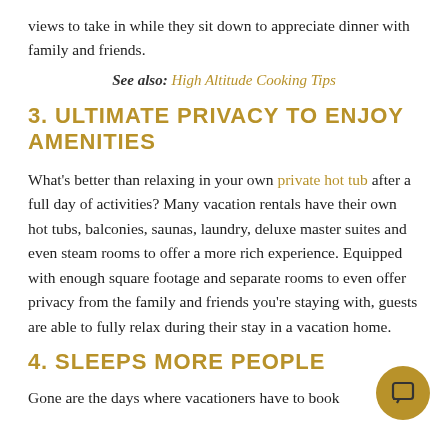views to take in while they sit down to appreciate dinner with family and friends.
See also: High Altitude Cooking Tips
3. ULTIMATE PRIVACY TO ENJOY AMENITIES
What's better than relaxing in your own private hot tub after a full day of activities? Many vacation rentals have their own hot tubs, balconies, saunas, laundry, deluxe master suites and even steam rooms to offer a more rich experience. Equipped with enough square footage and separate rooms to even offer privacy from the family and friends you're staying with, guests are able to fully relax during their stay in a vacation home.
4. SLEEPS MORE PEOPLE
Gone are the days where vacationers have to book